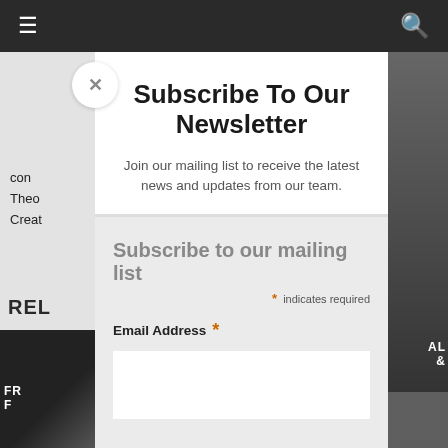≡  [nav bar]  🔍
Subscribe To Our Newsletter
Join our mailing list to receive the latest news and updates from our team.
Subscribe to our mailing list
* indicates required
Email Address *